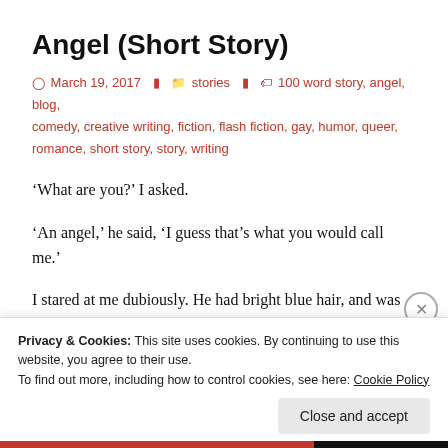Angel (Short Story)
March 19, 2017   stories   100 word story, angel, blog, comedy, creative writing, fiction, flash fiction, gay, humor, queer, romance, short story, story, writing
‘What are you?’ I asked.
‘An angel,’ he said, ‘I guess that’s what you would call me.’
I stared at me dubiously. He had bright blue hair, and was covered in intricate Celtic-knot tattoos. He was wearing jeans and a black T-shirt. His wings were huge and white th
Privacy & Cookies: This site uses cookies. By continuing to use this website, you agree to their use.
To find out more, including how to control cookies, see here: Cookie Policy